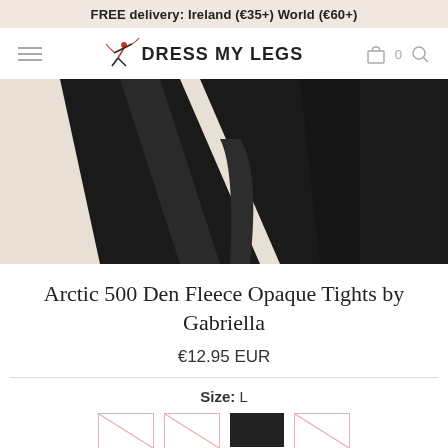FREE delivery: Ireland (€35+) World (€60+)
[Figure (screenshot): Website navigation bar with hamburger menu, Dress My Legs logo with dancer figure, shopping bag icon with 0 count, and search icon]
[Figure (photo): Close-up product photo of black fleece opaque tights against a beige/cream background, showing the legs crossed]
Arctic 500 Den Fleece Opaque Tights by Gabriella
€12.95 EUR
Size: L
[Figure (screenshot): Size selector row showing size options with crossed-out boxes and one selected black box for size L]